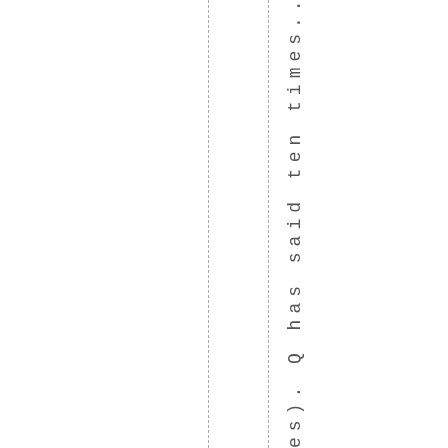es). Q has said t en t i mes... we have i t a